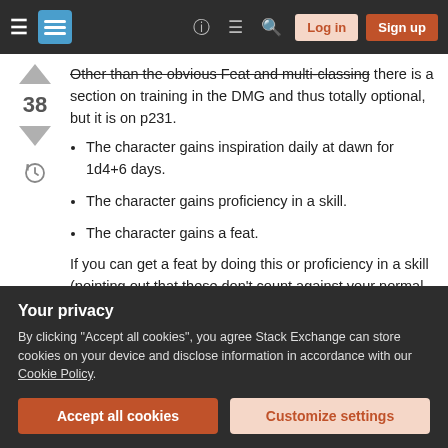Stack Exchange navigation bar with Log in and Sign up buttons
Other than the obvious Feat and multi-classing there is a section on training in the DMG and thus totally optional, but it is on p231.
The character gains inspiration daily at dawn for 1d4+6 days.
The character gains proficiency in a skill.
The character gains a feat.
If you can get a feat by doing this or proficiency in a skill (pointing out that these don't count against your normal
Your privacy
By clicking "Accept all cookies", you agree Stack Exchange can store cookies on your device and disclose information in accordance with our Cookie Policy.
This approach is entirely in the wheelhouse of DM...